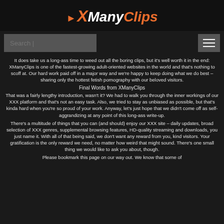[Figure (logo): XManyClips logo with orange X arrow and italic text ManyClips]
Search
It does take us a long-ass time to weed out all the boring clips, but it's well worth it in the end: XManyClips is one of the fastest-growing adult-oriented websites in the world and that's nothing to scoff at. Our hard work paid off in a major way and we're happy to keep doing what we do best – sharing only the hottest fetish pornography with our beloved visitors.
Final Words from XManyClips
That was a fairly lengthy introduction, wasn't it? We had to walk you through the inner workings of our XXX platform and that's not an easy task. Also, we tried to stay as unbiased as possible, but that's kinda hard when you're so proud of your work. Anyway, let's just hope that we didn't come off as self-aggrandizing at any point of this long-ass write-up.
There's a multitude of things that you can (and should) enjoy our XXX site – daily updates, broad selection of XXX genres, supplemental browsing features, HD-quality streaming and downloads, you just name it. With all of that being said, we don't want any reward from you, kind visitors. Your gratification is the only reward we need, no matter how weird that might sound. There's one small thing we would like to ask you about, though.
Please bookmark this page on our way out. We know that some of